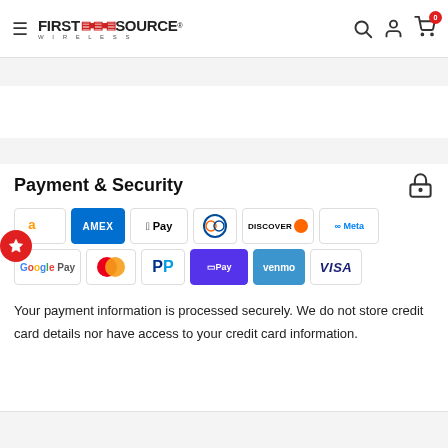First Source Wireless
Payment & Security
[Figure (logo): Payment method logos: Amazon, Amex, Apple Pay, Diners Club, Discover, Meta Pay, Google Pay, Mastercard, PayPal, Shop Pay, Venmo, Visa]
Your payment information is processed securely. We do not store credit card details nor have access to your credit card information.